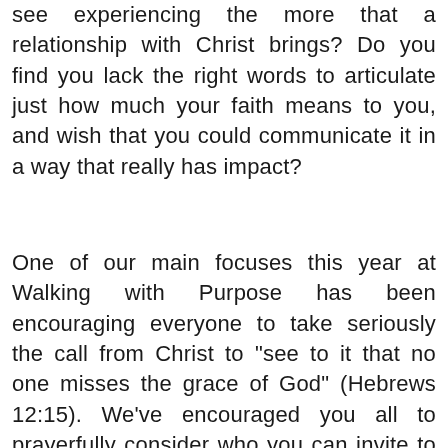see experiencing the more that a relationship with Christ brings? Do you find you lack the right words to articulate just how much your faith means to you, and wish that you could communicate it in a way that really has impact?
One of our main focuses this year at Walking with Purpose has been encouraging everyone to take seriously the call from Christ to "see to it that no one misses the grace of God" (Hebrews 12:15). We've encouraged you all to prayerfully consider who you can invite to WWP in the fall. We've worked hard to bring you a top notch new Bible study, Opening